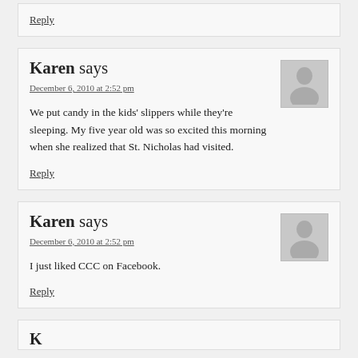Reply
Karen says
December 6, 2010 at 2:52 pm
We put candy in the kids' slippers while they're sleeping. My five year old was so excited this morning when she realized that St. Nicholas had visited.
Reply
Karen says
December 6, 2010 at 2:52 pm
I just liked CCC on Facebook.
Reply